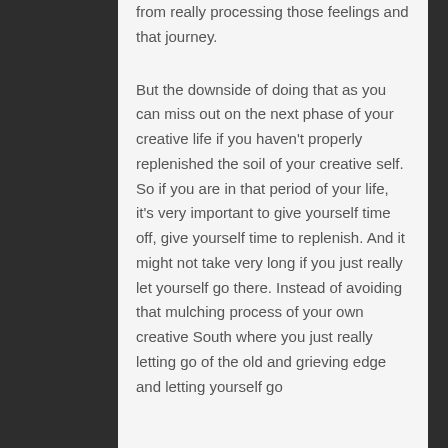from really processing those feelings and that journey.
But the downside of doing that as you can miss out on the next phase of your creative life if you haven't properly replenished the soil of your creative self. So if you are in that period of your life, it's very important to give yourself time off, give yourself time to replenish. And it might not take very long if you just really let yourself go there. Instead of avoiding that mulching process of your own creative South where you just really letting go of the old and grieving edge and letting yourself go